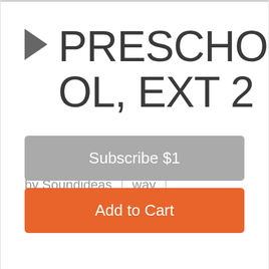PRESCHOOL, EXT 2
by Soundideas | wav | 3:01 | i
Subscribe $1
Add to Cart